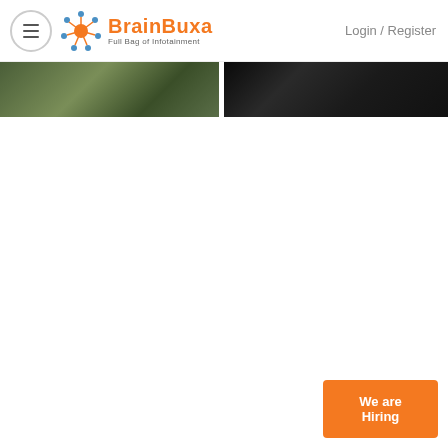BrainBuxa - Full Bag of Infotainment | Login / Register
[Figure (screenshot): Two cropped thumbnail images side by side — left image shows an olive/green-toned outdoor scene, right image shows a very dark/black scene.]
We are Hiring